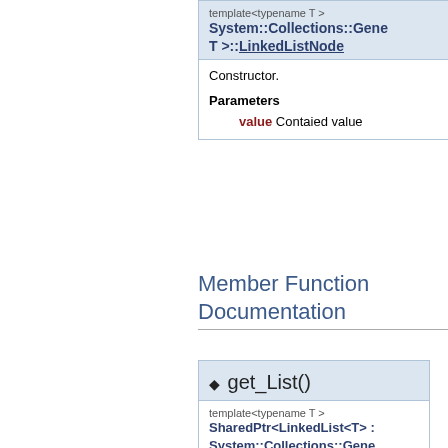template<typename T >
System::Collections::Gene T >::LinkedListNode
Constructor.
Parameters
value Contaied value
Member Function Documentation
◆ get_List()
template<typename T >
SharedPtr<LinkedList<T> :: System::Collections::Gene